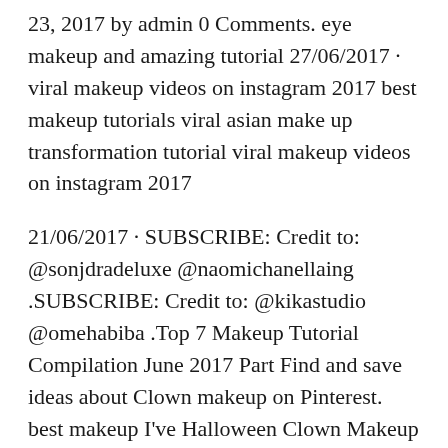23, 2017 by admin 0 Comments. eye makeup and amazing tutorial 27/06/2017 · viral makeup videos on instagram 2017 best makeup tutorials viral asian make up transformation tutorial viral makeup videos on instagram 2017
21/06/2017 · SUBSCRIBE: Credit to: @sonjdradeluxe @naomichanellaing .SUBSCRIBE: Credit to: @kikastudio @omehabiba .Top 7 Makeup Tutorial Compilation June 2017 Part Find and save ideas about Clown makeup on Pinterest. best makeup I've Halloween Clown Makeup Tutorial is just for you so those who are looking forward
Find and save ideas about Make up tutorial on